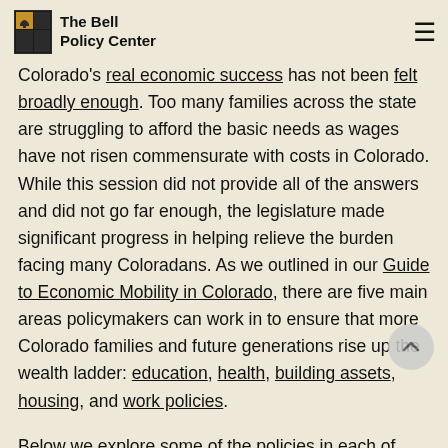The Bell Policy Center
Colorado's real economic success has not been felt broadly enough. Too many families across the state are struggling to afford the basic needs as wages have not risen commensurate with costs in Colorado. While this session did not provide all of the answers and did not go far enough, the legislature made significant progress in helping relieve the burden facing many Coloradans. As we outlined in our Guide to Economic Mobility in Colorado, there are five main areas policymakers can work in to ensure that more Colorado families and future generations rise up the wealth ladder: education, health, building assets, housing, and work policies.
Below we explore some of the policies in each of these areas the legislature worked on, and how each can help Colorado families attain economic success.
Education: Learning to Live & Work